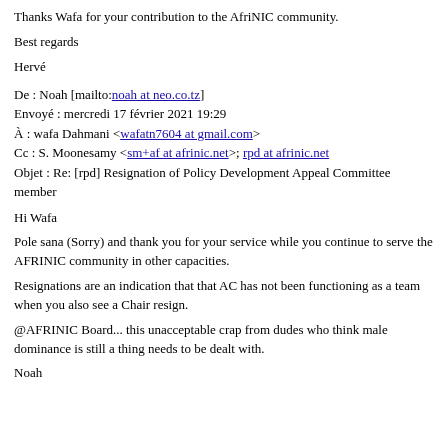Thanks Wafa for your contribution to the AfriNIC community.
Best regards
Hervé
De : Noah [mailto:noah at neo.co.tz]
Envoyé : mercredi 17 février 2021 19:29
À : wafa Dahmani <wafatn7604 at gmail.com>
Cc : S. Moonesamy <sm+af at afrinic.net>; rpd at afrinic.net
Objet : Re: [rpd] Resignation of Policy Development Appeal Committee member
Hi Wafa
Pole sana (Sorry) and thank you for your service while you continue to serve the AFRINIC community in other capacities.
Resignations are an indication that that AC has not been functioning as a team when you also see a Chair resign.
@AFRINIC Board... this unacceptable crap from dudes who think male dominance is still a thing needs to be dealt with.
Noah